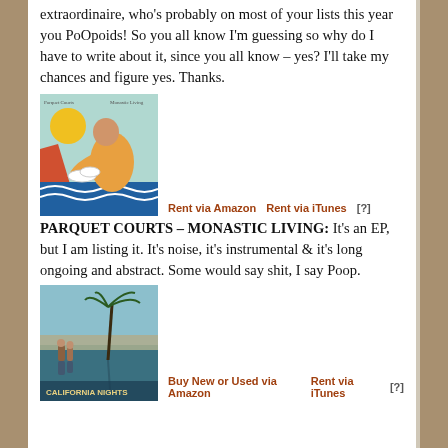extraordinaire, who's probably on most of your lists this year you PoOpoids! So you all know I'm guessing so why do I have to write about it, since you all know – yes? I'll take my chances and figure yes. Thanks.
[Figure (photo): Album cover for Parquet Courts – Monastic Living, showing an illustrated figure washing dishes with a yellow sun in background]
Rent via Amazon   Rent via iTunes [?]
PARQUET COURTS – MONASTIC LIVING: It's an EP, but I am listing it. It's noise, it's instrumental & it's long ongoing and abstract. Some would say shit, I say Poop.
[Figure (photo): Album cover for California Nights showing two figures reflected in water with a palm tree against a blue sky]
Buy New or Used via Amazon   Rent via iTunes [?]